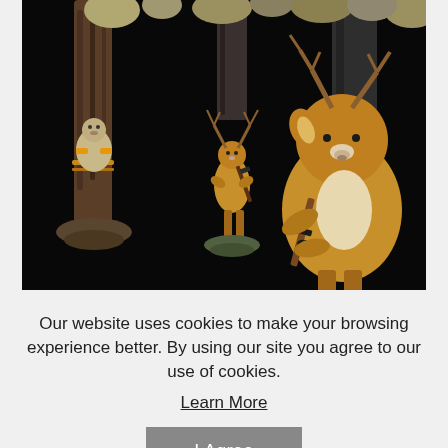[Figure (photo): Figurines of animals (deer, bear-like creatures) holding rifles/guns, displayed against a dark black background. The animal figurines are detailed resin sculptures standing upright like hunters.]
Our website uses cookies to make your browsing experience better. By using our site you agree to our use of cookies.
Learn More
I Agree